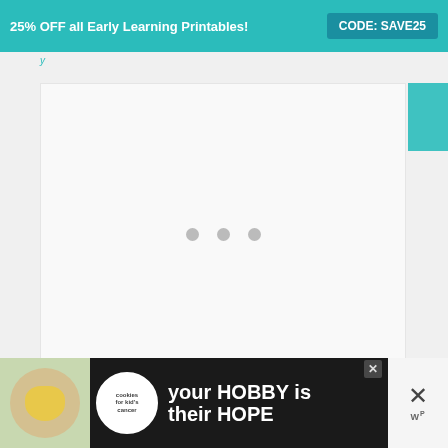25% OFF all Early Learning Printables!   CODE: SAVE25
[Figure (screenshot): A large white/light grey content placeholder area with three grey loading dots centered in the middle, indicating an image or content is loading.]
[Figure (infographic): Bottom advertisement banner for 'cookies for kid's cancer' featuring text 'your HOBBY is their HOPE' on a dark background with a circular logo and a photo of hands holding a heart-shaped cookie.]